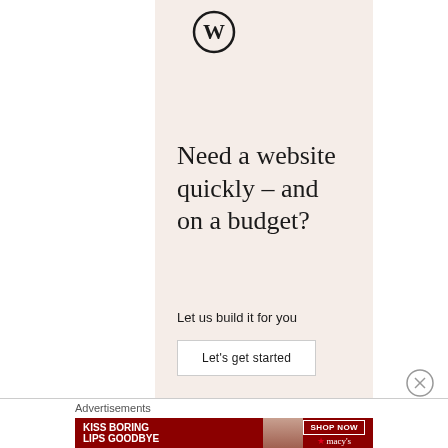[Figure (logo): WordPress logo (W in circle) at top of ad panel]
Need a website quickly – and on a budget?
Let us build it for you
Let's get started
[Figure (illustration): Close/dismiss button (circled X) at bottom right of ad panel]
Advertisements
[Figure (infographic): Macy's banner ad: 'KISS BORING LIPS GOODBYE' with woman's face and red lips, SHOP NOW button, Macy's star logo]